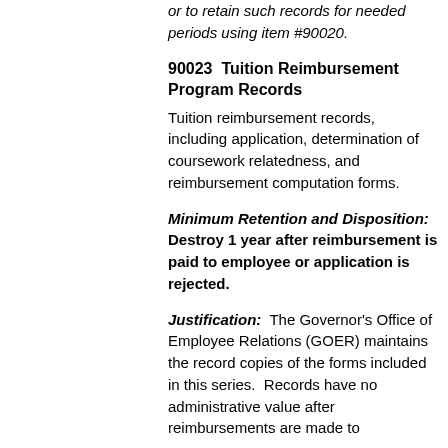or to retain such records for needed periods using item #90020.
90023  Tuition Reimbursement Program Records
Tuition reimbursement records, including application, determination of coursework relatedness, and reimbursement computation forms.
Minimum Retention and Disposition: Destroy 1 year after reimbursement is paid to employee or application is rejected.
Justification:  The Governor's Office of Employee Relations (GOER) maintains the record copies of the forms included in this series.  Records have no administrative value after reimbursements are made to